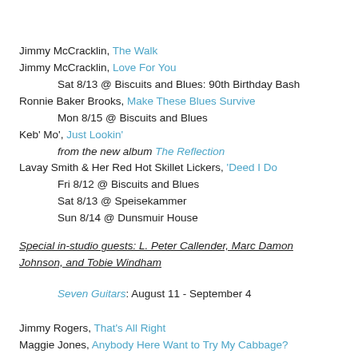Jimmy McCracklin, The Walk
Jimmy McCracklin, Love For You
Sat 8/13 @ Biscuits and Blues: 90th Birthday Bash
Ronnie Baker Brooks, Make These Blues Survive
Mon 8/15 @ Biscuits and Blues
Keb' Mo', Just Lookin'
from the new album The Reflection
Lavay Smith & Her Red Hot Skillet Lickers, 'Deed I Do
Fri 8/12 @ Biscuits and Blues
Sat 8/13 @ Speisekammer
Sun 8/14 @ Dunsmuir House
Special in-studio guests: L. Peter Callender, Marc Damon Johnson, and Tobie Windham
Seven Guitars: August 11 - September 4
Jimmy Rogers, That's All Right
Maggie Jones, Anybody Here Want to Try My Cabbage?